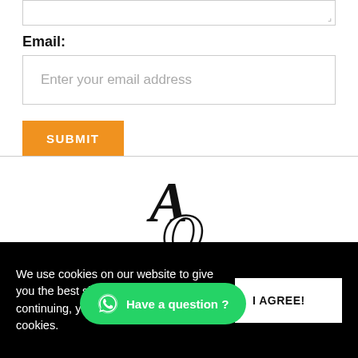Email:
Enter your email address
SUBMIT
[Figure (logo): AOS monogram logo in black serif font with overlapping A, O, S letters]
✓Optional 0% interest easy payment plan available
We use cookies on our website to give you the best shopping experience. By continuing, you agree to its use of cookies.
I AGREE!
Have a question ?